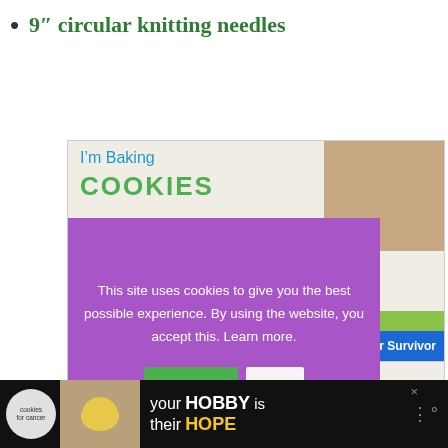9″ circular knitting needles
[Figure (screenshot): Website screenshot showing a cookie consent popup overlay on an advertisement. The ad shows 'I'm Baking COOKIES' text with a child's photo. The purple cookie consent modal reads: 'This site uses cookies to give you the best possible experience. By using the website, you accept this. Learn more.' with Accept and X buttons. Bottom shows a banner ad for 'your HOBBY is their HOPE' with cookies for cancer branding.]